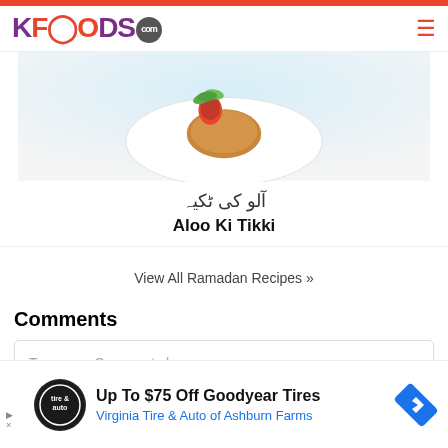KFOODS.com
[Figure (photo): Food photo showing what appears to be a dish on a white plate with a strawberry and green leaves/mint garnish on a light background]
آلو کی ٹکیہ
Aloo Ki Tikki
View All Ramadan Recipes »
Comments
Type your Comments here
[Figure (screenshot): Advertisement: Up To $75 Off Goodyear Tires — Virginia Tire & Auto of Ashburn Farms. Shows tire & auto logo and a blue directional road sign arrow icon.]